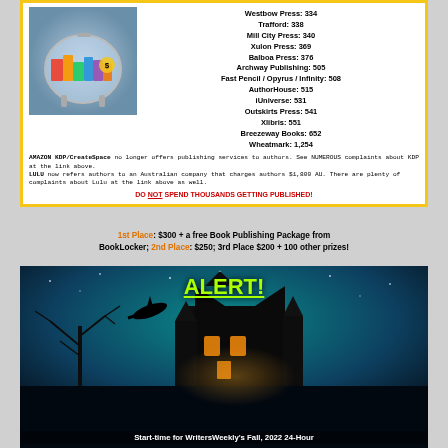Westbow Press: 334
Trafford: 338
Mill City Press: 340
Xulon Press: 369
Balboa Press: 376
Archway Publishing: 505
Fast Pencil / Opyrus / Infinity: 508
AuthorHouse: 515
iUniverse: 531
Outskirts Press: 541
Xlibris: 551
Breezeway Books: 652
Wheatmark: 1,254
AMAZON KDP/CreateSpace no longer offers publishing services to authors. See NUMEROUS complaints about KDP at the link above. LULU now refers authors to an Australian company that charges authors $1,800 AU. There are plenty of complaints about Lulu at the link above as well.
DO NOT SPEND THOUSANDS GETTING PUBLISHED!
1st Place: $300 + a free Book Publishing Package from BookLocker; 2nd Place: $250; 3rd Place $200 + 100 other prizes!
[Figure (photo): Halloween haunted house scene at night with glowing windows, bare trees, flying witch silhouette against teal/blue sky, and ALERT! text overlay in yellow-green]
Start-time for WritersWeekly's Fall, 2022 24-Hour